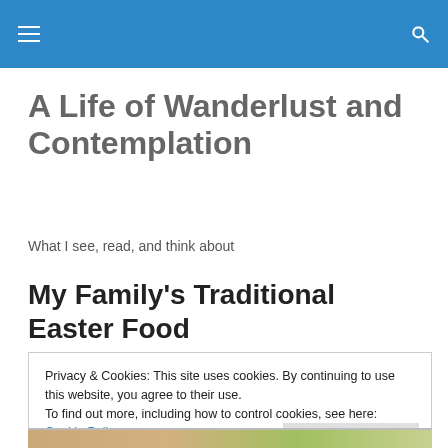A Life of Wanderlust and Contemplation
What I see, read, and think about
My Family’s Traditional Easter Food
Privacy & Cookies: This site uses cookies. By continuing to use this website, you agree to their use.
To find out more, including how to control cookies, see here: Cookie Policy
[Figure (photo): Bottom strip showing food image (partial view at bottom of page)]